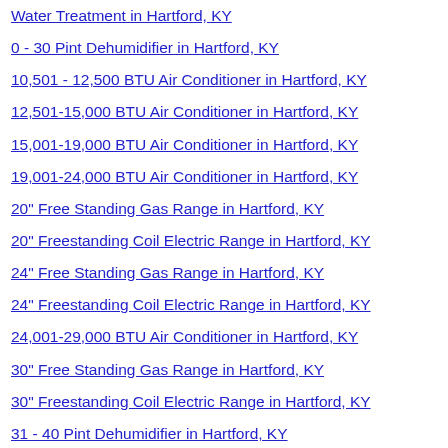Water Treatment in Hartford, KY
0 - 30 Pint Dehumidifier in Hartford, KY
10,501 - 12,500 BTU Air Conditioner in Hartford, KY
12,501-15,000 BTU Air Conditioner in Hartford, KY
15,001-19,000 BTU Air Conditioner in Hartford, KY
19,001-24,000 BTU Air Conditioner in Hartford, KY
20" Free Standing Gas Range in Hartford, KY
20" Freestanding Coil Electric Range in Hartford, KY
24" Free Standing Gas Range in Hartford, KY
24" Freestanding Coil Electric Range in Hartford, KY
24,001-29,000 BTU Air Conditioner in Hartford, KY
30" Free Standing Gas Range in Hartford, KY
30" Freestanding Coil Electric Range in Hartford, KY
31 - 40 Pint Dehumidifier in Hartford, KY